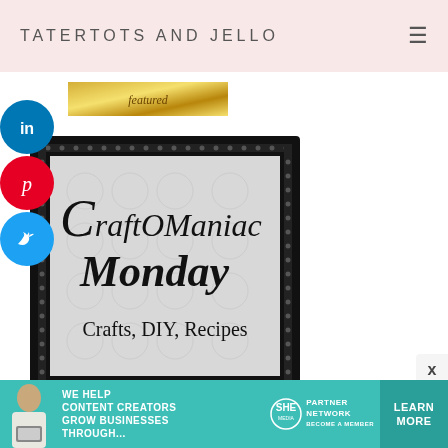TATERTOTS AND JELLO
[Figure (illustration): Gold banner with decorative text, partially visible at top of content area]
[Figure (illustration): Social media share buttons: LinkedIn (blue circle with 'in'), Pinterest (red circle with 'p'), Twitter (light blue circle with bird icon)]
[Figure (illustration): CraftOManiac Monday framed image - black ornate frame with damask gray background, cursive text reading CraftOManiac Monday, Crafts, DIY, Recipes]
Related Posts
[Figure (infographic): SHE Media advertisement banner: teal background, woman with laptop photo, text WE HELP CONTENT CREATORS GROW BUSINESSES THROUGH..., SHE Partner Network logo, LEARN MORE button]